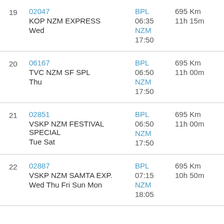| # | Train | From/Dep | Distance/Duration |
| --- | --- | --- | --- |
| 19 | 02047
KOP NZM EXPRESS
Wed | BPL 06:35
NZM 17:50 | 695 Km
11h 15m |
| 20 | 06167
TVC NZM SF SPL
Thu | BPL 06:50
NZM 17:50 | 695 Km
11h 00m |
| 21 | 02851
VSKP NZM FESTIVAL SPECIAL
Tue Sat | BPL 06:50
NZM 17:50 | 695 Km
11h 00m |
| 22 | 02887
VSKP NZM SAMTA EXP.
Wed Thu Fri Sun Mon | BPL 07:15
NZM 18:05 | 695 Km
10h 50m |